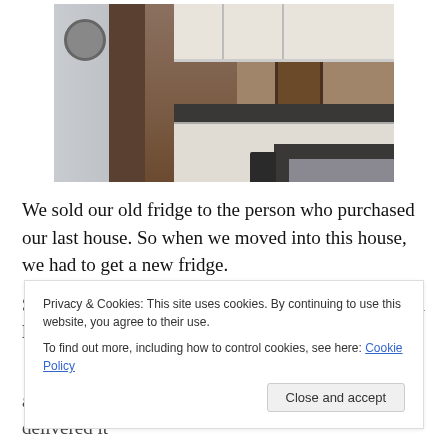[Figure (photo): Kitchen interior photo showing white cabinets, dark countertops, tile/brick floor hallway, trash can, and a door in the background]
We sold our old fridge to the person who purchased our last house. So when we moved into this house, we had to get a new fridge.
Side note: This house was built in the 1980's and had low
Privacy & Cookies: This site uses cookies. By continuing to use this website, you agree to their use.
To find out more, including how to control cookies, see here: Cookie Policy
amazing 4th of July sale. (bonus points – they delivered it